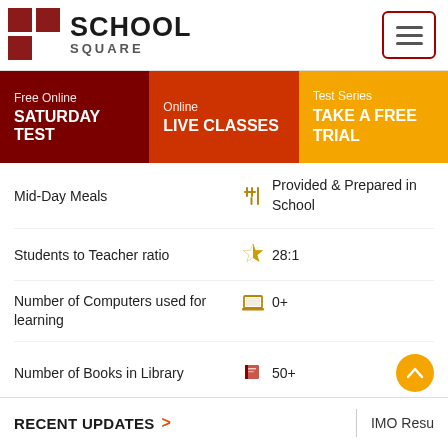[Figure (logo): School Square logo with red checkered grid icon and bold SCHOOL SQUARE text]
[Figure (other): Hamburger menu button with three horizontal lines in a rounded rectangle border]
Free Online SATURDAY TEST
Online LIVE CLASSES
Test Series TAKE A FREE TRIAL
Mid-Day Meals
Provided & Prepared in School
Students to Teacher ratio
28:1
Number of Computers used for learning
0+
Number of Books in Library
50+
School Category
Sr. Secondary School
RECENT UPDATES > | IMO Resu